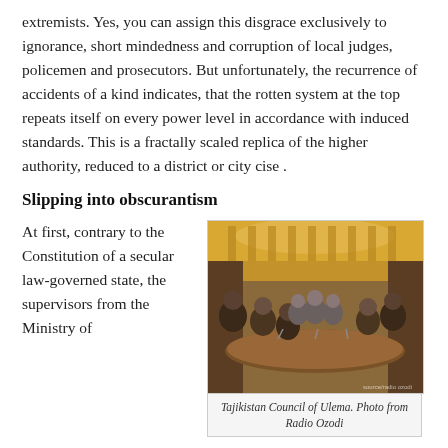extremists. Yes, you can assign this disgrace exclusively to ignorance, short mindedness and corruption of local judges, policemen and prosecutors. But unfortunately, the recurrence of accidents of a kind indicates, that the rotten system at the top repeats itself on every power level in accordance with induced standards. This is a fractally scaled replica of the higher authority, reduced to a district or city cise .
Slipping into obscurantism
At first, contrary to the Constitution of a secular law-governed state, the supervisors from the Ministry of
[Figure (photo): Meeting room with people seated around a large conference table, ornate golden decor in the background, appears to be a formal religious or government council meeting in Tajikistan]
Tajikistan Council of Ulema. Photo from Radio Ozodi